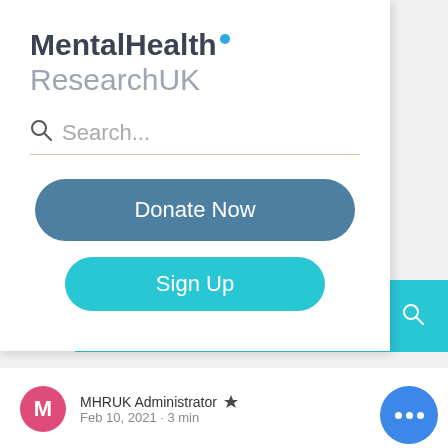[Figure (screenshot): MentalHealth ResearchUK logo with blue dot accent]
Search...
Donate Now
Sign Up
Post
MHRUK Administrator · Feb 10, 2021 · 3 min
Mental Health Research UK appoints new Chair Professor Sir Michael...